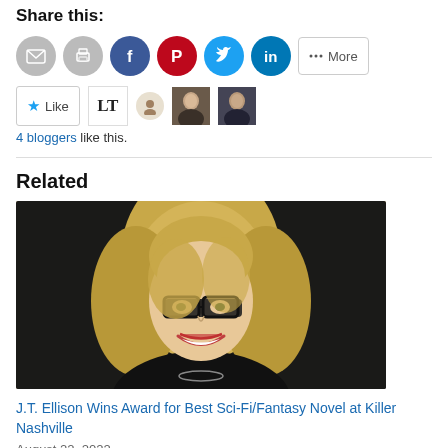Share this:
[Figure (infographic): Social sharing icons: email, print, Facebook, Pinterest, Twitter, LinkedIn, and More button]
[Figure (infographic): Like button with star, and 4 blogger avatar thumbnails (LT logo, small icon, two person photos)]
4 bloggers like this.
Related
[Figure (photo): Portrait photo of a smiling woman with blonde hair and black glasses wearing a black turtleneck, against a dark background]
J.T. Ellison Wins Award for Best Sci-Fi/Fantasy Novel at Killer Nashville
August 22, 2022